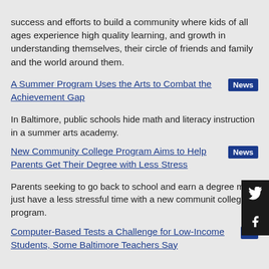success and efforts to build a community where kids of all ages experience high quality learning, and growth in understanding themselves, their circle of friends and family and the world around them.
A Summer Program Uses the Arts to Combat the Achievement Gap
In Baltimore, public schools hide math and literacy instruction in a summer arts academy.
New Community College Program Aims to Help Parents Get Their Degree with Less Stress
Parents seeking to go back to school and earn a degree may just have a less stressful time with a new community college program.
Computer-Based Tests a Challenge for Low-Income Students, Some Baltimore Teachers Say